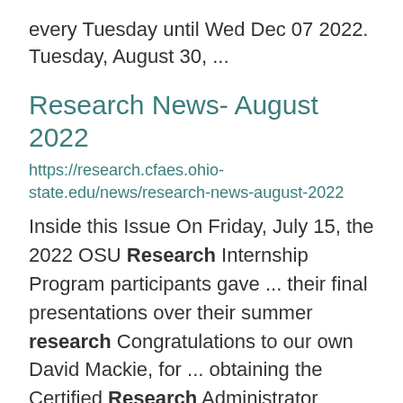every Tuesday until Wed Dec 07 2022. Tuesday, August 30, ...
Research News- August 2022
https://research.cfaes.ohio-state.edu/news/research-news-august-2022
Inside this Issue On Friday, July 15, the 2022 OSU Research Internship Program participants gave ... their final presentations over their summer research Congratulations to our own David Mackie, for ... obtaining the Certified Research Administrator (CRA) designation The President's Postdoctoral Scholars ...